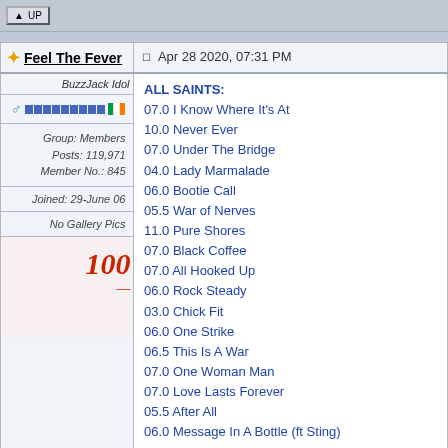UP button bar
Feel The Fever | Apr 28 2020, 07:31 PM
BuzzJack Idol | Group: Members | Posts: 119,971 | Member No.: 845 | Joined: 29-June 06 | No Gallery Pics
ALL SAINTS:
07.0 I Know Where It's At
10.0 Never Ever
07.0 Under The Bridge
04.0 Lady Marmalade
06.0 Bootie Call
05.5 War of Nerves
11.0 Pure Shores
07.0 Black Coffee
07.0 All Hooked Up
06.0 Rock Steady
03.0 Chick Fit
06.0 One Strike
06.5 This Is A War
07.0 One Woman Man
07.0 Love Lasts Forever
05.5 After All
06.0 Message In A Bottle (ft Sting)
APPLETON: